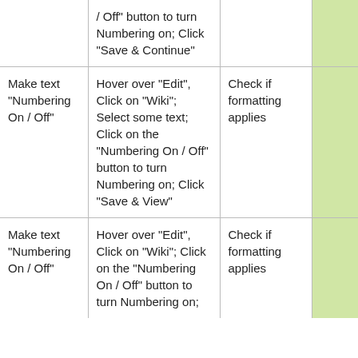|  | / Off" button to turn Numbering on; Click "Save & Continue" |  |  | - |
| Make text "Numbering On / Off" | Hover over "Edit", Click on "Wiki"; Select some text; Click on the "Numbering On / Off" button to turn Numbering on; Click "Save & View" | Check if formatting applies |  | - |
| Make text "Numbering On / Off" | Hover over "Edit", Click on "Wiki"; Click on the "Numbering On / Off" button to turn Numbering on; | Check if formatting applies |  | - |